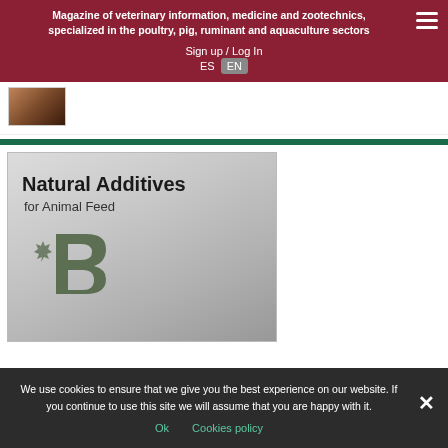Magazine of veterinary information, medicine and zootechnics, specialized in the poultry, pig, ruminant and aquaculture sectors
Sign up / Log In
ES  EN
[Figure (photo): Small thumbnail image showing a reddish-brown animal photo, partially visible]
[Figure (illustration): Book or product cover image titled 'Natural Additives for Animal Feed' with a decorative logo in dark green/grey tones]
We use cookies to ensure that we give you the best experience on our website. If you continue to use this site we will assume that you are happy with it.
Ok    Cookies policy